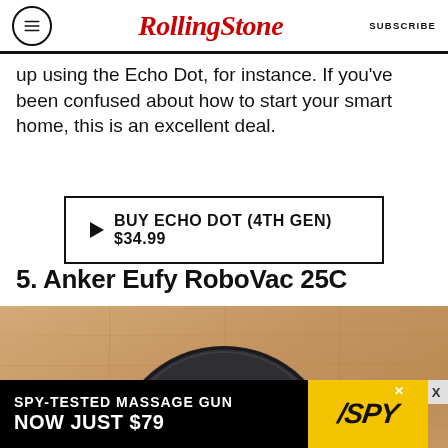RollingStone  SUBSCRIBE
up using the Echo Dot, for instance. If you've been confused about how to start your smart home, this is an excellent deal.
▶ BUY ECHO DOT (4TH GEN) $34.99
5. Anker Eufy RoboVac 25C
[Figure (photo): Anker Eufy RoboVac 25C robot vacuum, circular black device sitting on a light wood floor]
[Figure (infographic): Advertisement banner: SPY-TESTED MASSAGE GUN NOW JUST $79, with SPY logo on yellow background]